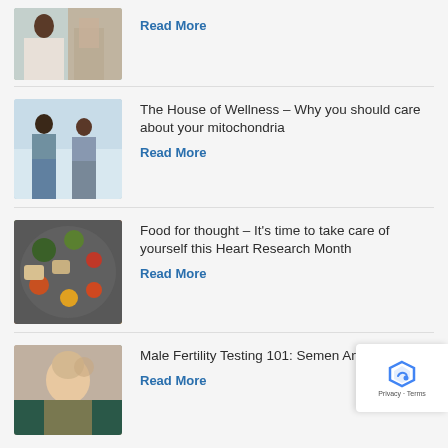[Figure (photo): Person at desk with documents, partial view at top of page]
Read More
[Figure (photo): Two women exercising outdoors, one coaching the other]
The House of Wellness – Why you should care about your mitochondria
Read More
[Figure (photo): Overhead view of various healthy foods arranged on a dark surface]
Food for thought – It's time to take care of yourself this Heart Research Month
Read More
[Figure (photo): Adult holding a baby, close up portrait]
Male Fertility Testing 101: Semen Analysis
Read More